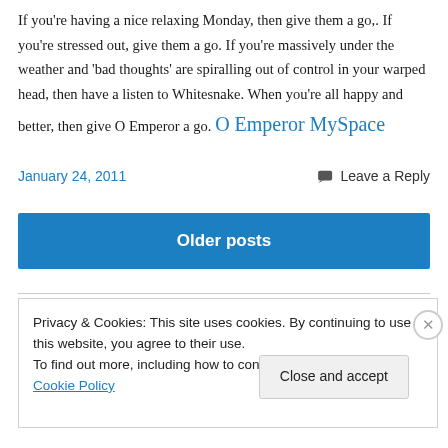If you're having a nice relaxing Monday, then give them a go,. If you're stressed out, give them a go. If you're massively under the weather and 'bad thoughts' are spiralling out of control in your warped head, then have a listen to Whitesnake. When you're all happy and better, then give O Emperor a go. O Emperor MySpace
January 24, 2011
Leave a Reply
Older posts
Privacy & Cookies: This site uses cookies. By continuing to use this website, you agree to their use.
To find out more, including how to control cookies, see here: Cookie Policy
Close and accept